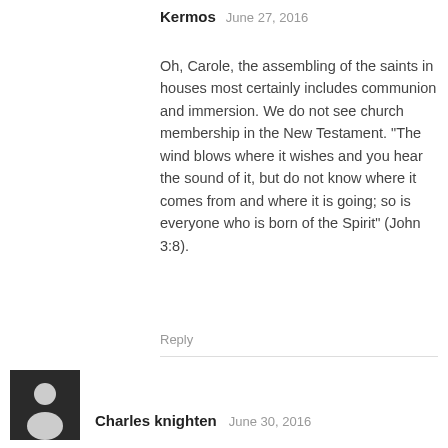Kermos   June 27, 2016
Oh, Carole, the assembling of the saints in houses most certainly includes communion and immersion. We do not see church membership in the New Testament. “The wind blows where it wishes and you hear the sound of it, but do not know where it comes from and where it is going; so is everyone who is born of the Spirit” (John 3:8).
Reply
[Figure (photo): Default user avatar icon — dark square with a white silhouette of a person]
Charles knighten   June 30, 2016